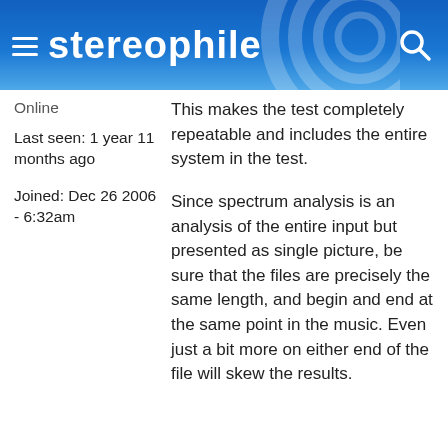stereophile
Online
Last seen: 1 year 11 months ago
Joined: Dec 26 2006 - 6:32am
This makes the test completely repeatable and includes the entire system in the test.
Since spectrum analysis is an analysis of the entire input but presented as single picture, be sure that the files are precisely the same length, and begin and end at the same point in the music. Even just a bit more on either end of the file will skew the results.